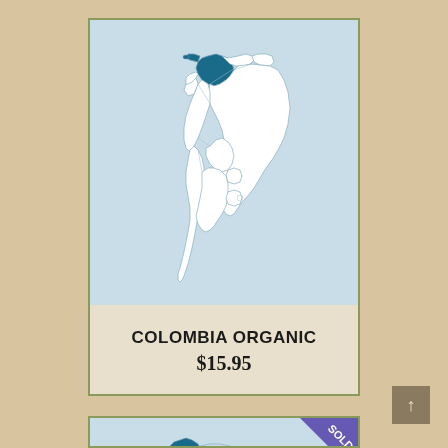[Figure (map): Map of South America with Colombia highlighted in dark teal/blue color, shown within a product card with light blue background]
COLOMBIA ORGANIC
$15.95
[Figure (map): Partial map of South America with Colombia highlighted, partially obscured by a purple/blue diagonal 'SOLD' banner in the top right corner]